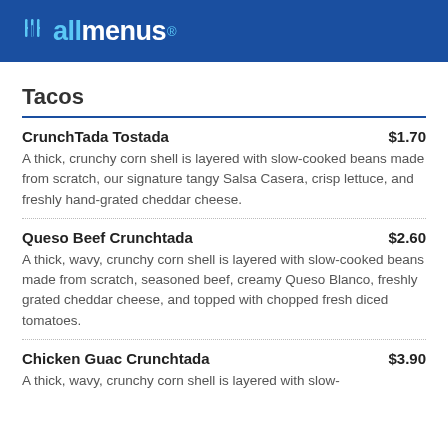allmenus
Tacos
CrunchTada Tostada $1.70
A thick, crunchy corn shell is layered with slow-cooked beans made from scratch, our signature tangy Salsa Casera, crisp lettuce, and freshly hand-grated cheddar cheese.
Queso Beef Crunchtada $2.60
A thick, wavy, crunchy corn shell is layered with slow-cooked beans made from scratch, seasoned beef, creamy Queso Blanco, freshly grated cheddar cheese, and topped with chopped fresh diced tomatoes.
Chicken Guac Crunchtada $3.90
A thick, wavy, crunchy corn shell is layered with slow-